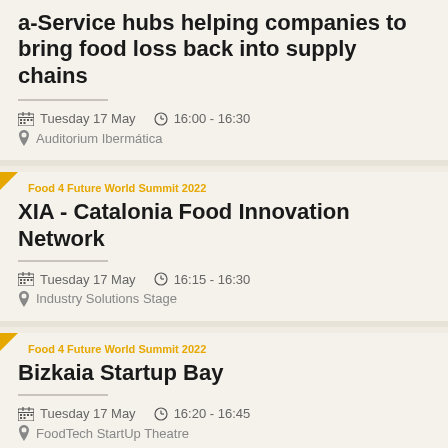a-Service hubs helping companies to bring food loss back into supply chains
Tuesday 17 May  16:00 - 16:30
Auditorium Ibermática
Food 4 Future World Summit 2022
XIA - Catalonia Food Innovation Network
Tuesday 17 May  16:15 - 16:30
Industry Solutions Stage
Food 4 Future World Summit 2022
Bizkaia Startup Bay
Tuesday 17 May  16:20 - 16:45
FoodTech StartUp Theatre
Food 4 Future World Summit 2022